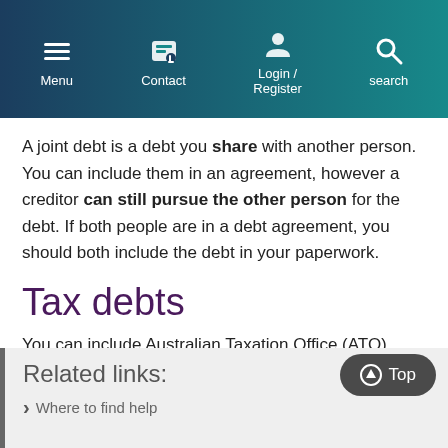Menu | Contact | Login / Register | search
A joint debt is a debt you share with another person. You can include them in an agreement, however a creditor can still pursue the other person for the debt. If both people are in a debt agreement, you should both include the debt in your paperwork.
Tax debts
You can include Australian Taxation Office (ATO) debts in your agreement. However, the ATO can keep your tax refunds if you owe the Commonwealth a debt.
Related links:
Where to find help